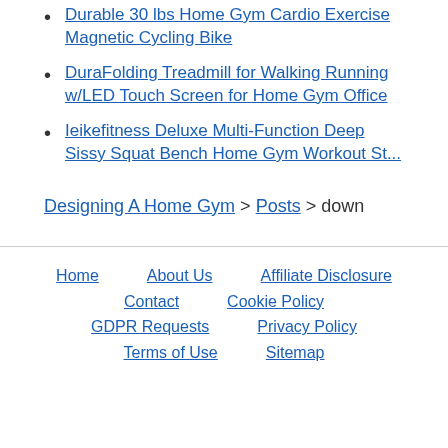Durable 30 lbs Home Gym Cardio Exercise Magnetic Cycling Bike
DuraFolding Treadmill for Walking Running w/LED Touch Screen for Home Gym Office
Ieikefitness Deluxe Multi-Function Deep Sissy Squat Bench Home Gym Workout St...
Designing A Home Gym > Posts > down
Home  About Us  Affiliate Disclosure  Contact  Cookie Policy  GDPR Requests  Privacy Policy  Terms of Use  Sitemap